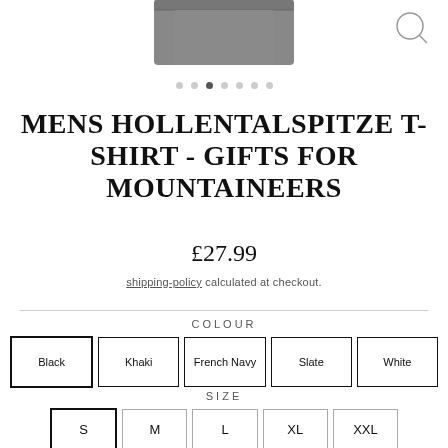[Figure (photo): Partial view of a grey/dark t-shirt folded, shown from above, with a magnifying glass icon in the top right corner]
[Figure (other): Carousel navigation dots, 7 dots total with the 3rd dot active/filled]
MENS HOLLENTALSPITZE T-SHIRT - GIFTS FOR MOUNTAINEERS
£27.99
shipping-policy calculated at checkout.
COLOUR
Black
Khaki
French Navy
Slate
White
SIZE
S
M
L
XL
XXL